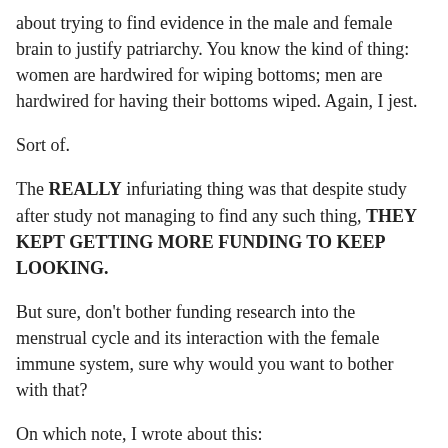about trying to find evidence in the male and female brain to justify patriarchy. You know the kind of thing: women are hardwired for wiping bottoms; men are hardwired for having their bottoms wiped. Again, I jest.
Sort of.
The REALLY infuriating thing was that despite study after study not managing to find any such thing, THEY KEPT GETTING MORE FUNDING TO KEEP LOOKING.
But sure, don't bother funding research into the menstrual cycle and its interaction with the female immune system, sure why would you want to bother with that?
On which note, I wrote about this: